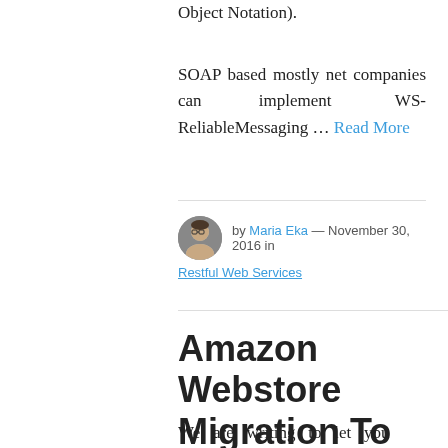Object Notation).
SOAP based mostly net companies can implement WS-ReliableMessaging … Read More
by Maria Eka — November 30, 2016 in Restful Web Services
Amazon Webstore Migration To Magento
We are writing to let you